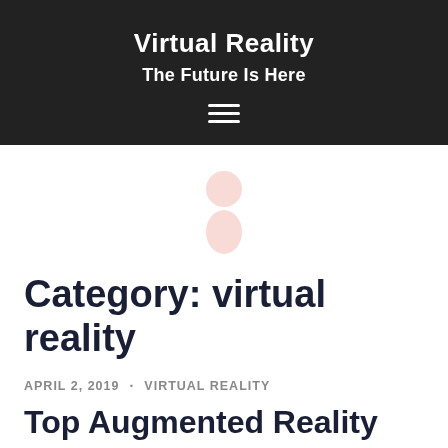Virtual Reality
The Future Is Here
[Figure (other): Hamburger menu icon (three horizontal white lines)]
[Figure (other): Decorative figure/person icon in light pink/rose color]
Category: virtual reality
APRIL 2, 2019 · VIRTUAL REALITY
Top Augmented Reality and Virtual Reality Technology Trends For